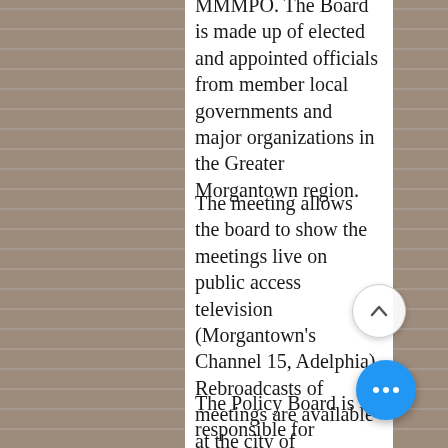MMMPO. The Board is made up of elected and appointed officials from member local governments and major organizations in the Greater Morgantown region.
The meeting allows the board to show the meetings live on public access television (Morgantown's Channel 15, Adelphia). Rebroadcasts of meetings are available at the city of Morgantown website.
The Policy Board is responsible for preparing and approving the areas Metropolitan Transportation Plan (MTP), the...